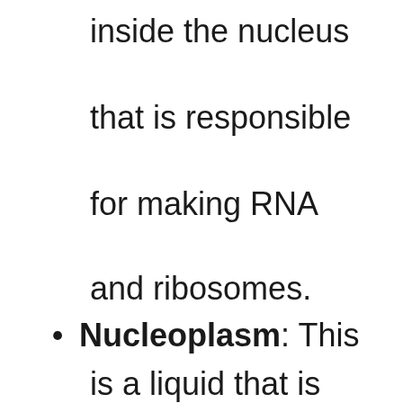inside the nucleus that is responsible for making RNA and ribosomes.
Nucleoplasm: This is a liquid that is
x